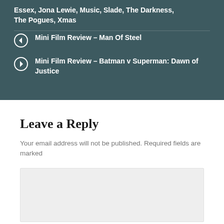Essex, Jona Lewie, Music, Slade, The Darkness, The Pogues, Xmas
Mini Film Review – Man Of Steel
Mini Film Review – Batman v Superman: Dawn of Justice
Leave a Reply
Your email address will not be published. Required fields are marked